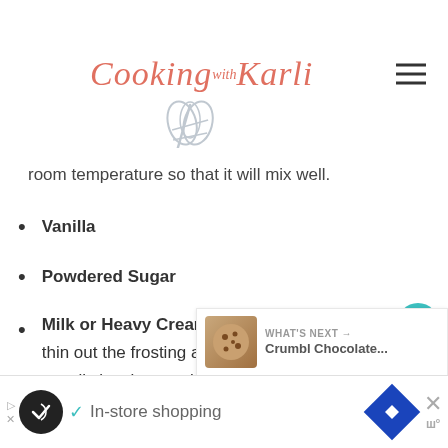Cooking with Karli
room temperature so that it will mix well.
Vanilla
Powdered Sugar
Milk or Heavy Cream- You can use this to thin out the frosting a touch, if desired. I usually just leave mine as is.
WHAT'S NEXT → Crumbl Chocolate...
In-store shopping